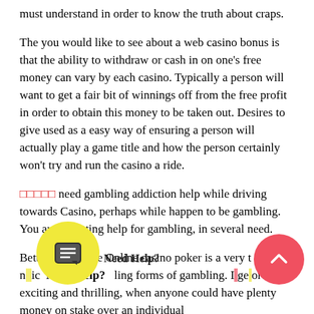must understand in order to know the truth about craps.
The you would like to see about a web casino bonus is that the ability to withdraw or cash in on one's free money can vary by each casino. Typically a person will want to get a fair bit of winnings off from the free profit in order to obtain this money to be taken out. Desires to give used as a easy way of ensuring a person will actually play a game title and how the person certainly won't try and run the casino a ride.
[red squares] need gambling addiction help while driving towards Casino, perhaps while happen to be gambling. You aren't getting help for gambling, in several need.
Betting exchange Online casino poker is a very t[...] n[...] [...]c [...] ling forms of gambling. I[...] ge[...] ore exciting and thrilling, when anyone could have plenty money on stake over an individual